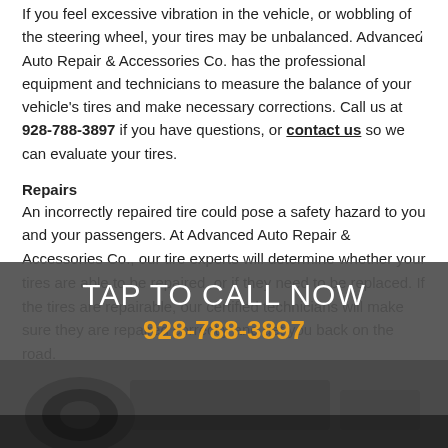If you feel excessive vibration in the vehicle, or wobbling of the steering wheel, your tires may be unbalanced. Advanced Auto Repair & Accessories Co. has the professional equipment and technicians to measure the balance of your vehicle's tires and make necessary corrections. Call us at 928-788-3897 if you have questions, or contact us so we can evaluate your tires.
Repairs
An incorrectly repaired tire could pose a safety hazard to you and your passengers. At Advanced Auto Repair & Accessories Co., our tire experts will determine whether your tires are able to be repaired, or if they need to be replaced. If the tires are repairable, our certified technicians will make sure they are repaired correctly and get you back on the road.
[Figure (other): Gray overlay call-to-action banner with white text 'TAP TO CALL NOW' and orange phone number '928-788-3897', with an X close button in the top right corner.]
[Figure (photo): A dark photo showing Fleet Tire services, partially visible at the bottom of the page with white text overlay reading 'To learn more about our Fleet Tire services, call us at']